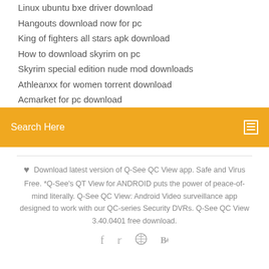Linux ubuntu bxe driver download
Hangouts download now for pc
King of fighters all stars apk download
How to download skyrim on pc
Skyrim special edition nude mod downloads
Athleanxx for women torrent download
Acmarket for pc download
Search Here
Download latest version of Q-See QC View app. Safe and Virus Free. *Q-See's QT View for ANDROID puts the power of peace-of-mind literally. Q-See QC View: Android Video surveillance app designed to work with our QC-series Security DVRs. Q-See QC View 3.40.0401 free download.